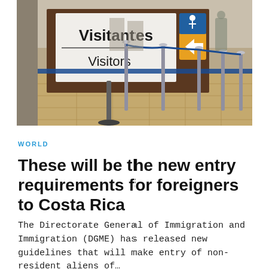[Figure (photo): Airport immigration hall with a sign reading 'Visitantes / Visitors' with a brown background panel, blue stanchion queue lines, and a yellow arrow sign. The terminal floor is visible in the background.]
WORLD
These will be the new entry requirements for foreigners to Costa Rica
The Directorate General of Immigration and Immigration (DGME) has released new guidelines that will make entry of non-resident aliens of...